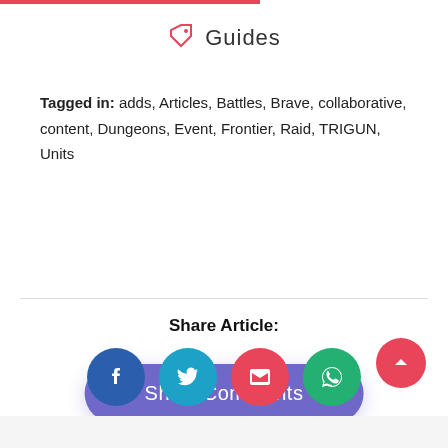[Figure (logo): Tag icon followed by 'Guides' label]
Tagged in: adds, Articles, Battles, Brave, collaborative, content, Dungeons, Event, Frontier, Raid, TRIGUN, Units
Show Comments
Share Article:
[Figure (infographic): Four social share buttons: Facebook (blue), Twitter (cyan), Email (pink/red), WhatsApp (green)]